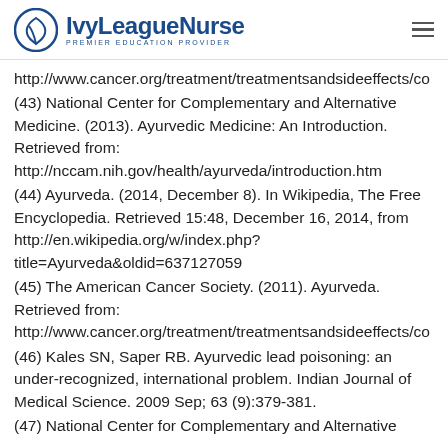IvyLeagueNurse — PREMIER EDUCATION PROVIDER
http://www.cancer.org/treatment/treatmentsandsideeffects/co
(43) National Center for Complementary and Alternative Medicine. (2013). Ayurvedic Medicine: An Introduction. Retrieved from: http://nccam.nih.gov/health/ayurveda/introduction.htm
(44) Ayurveda. (2014, December 8). In Wikipedia, The Free Encyclopedia. Retrieved 15:48, December 16, 2014, from http://en.wikipedia.org/w/index.php?title=Ayurveda&amp;oldid=637127059
(45) The American Cancer Society. (2011). Ayurveda. Retrieved from: http://www.cancer.org/treatment/treatmentsandsideeffects/co
(46) Kales SN, Saper RB. Ayurvedic lead poisoning: an under-recognized, international problem. Indian Journal of Medical Science. 2009 Sep; 63 (9):379-381.
(47) National Center for Complementary and Alternative Medicine. (2013). Traditional Chinese Medicine: An